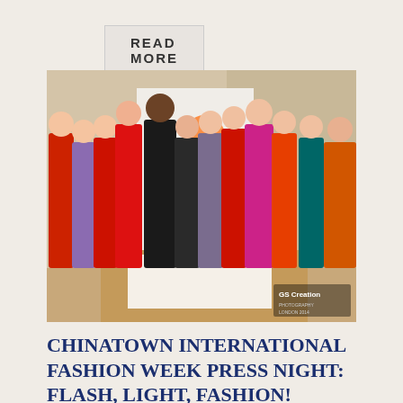READ MORE
[Figure (photo): Group photo of models wearing traditional Chinese qipao/cheongsam dresses in red, pink, floral, and teal colors, posing with two individuals in black attire at what appears to be a fashion event backdrop. A watermark reads 'GS Creation' in the bottom right corner.]
CHINATOWN INTERNATIONAL FASHION WEEK PRESS NIGHT: FLASH, LIGHT, FASHION!